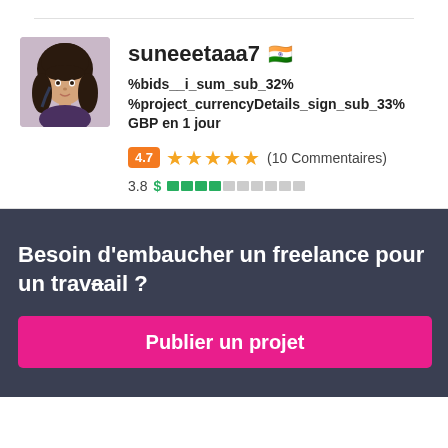[Figure (photo): Profile photo of a young woman with dark hair]
suneeetaaa7 🇮🇳
%bids__i_sum_sub_32% %project_currencyDetails_sign_sub_33% GBP en 1 jour
4.7 ★★★★★ (10 Commentaires)
3.8 $ ████░░░░░░
Besoin d'embaucher un freelance pour un travail ?
Publier un projet